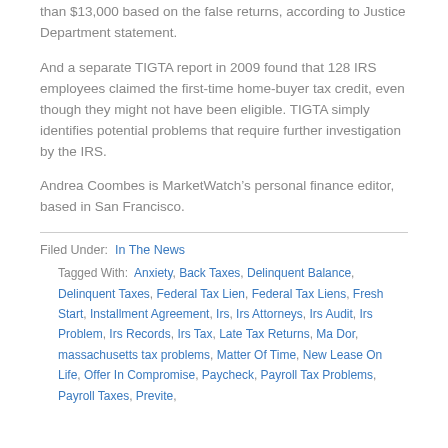than $13,000 based on the false returns, according to Justice Department statement.
And a separate TIGTA report in 2009 found that 128 IRS employees claimed the first-time home-buyer tax credit, even though they might not have been eligible. TIGTA simply identifies potential problems that require further investigation by the IRS.
Andrea Coombes is MarketWatch’s personal finance editor, based in San Francisco.
Filed Under: In The News
Tagged With: Anxiety, Back Taxes, Delinquent Balance, Delinquent Taxes, Federal Tax Lien, Federal Tax Liens, Fresh Start, Installment Agreement, Irs, Irs Attorneys, Irs Audit, Irs Problem, Irs Records, Irs Tax, Late Tax Returns, Ma Dor, massachusetts tax problems, Matter Of Time, New Lease On Life, Offer In Compromise, Paycheck, Payroll Tax Problems, Payroll Taxes, Previte,